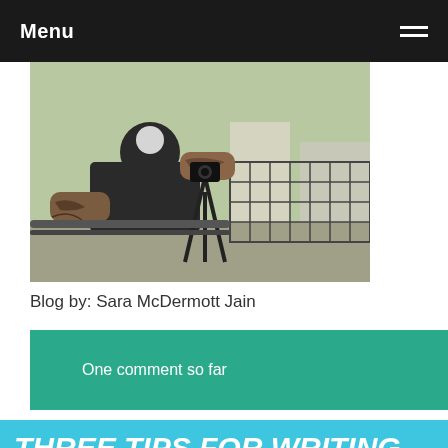Menu
[Figure (photo): A person with tattooed arms holding or operating a camera on a tripod outdoors, in an urban setting.]
Blog by: Sara McDermott Jain
One comment so far
THREE TIPS FOR WRITING GREAT CHARACTERS
JOIN OPEN HOUSE
April 15, 2016   Sara McDermott Jain  ,  Screenwriting